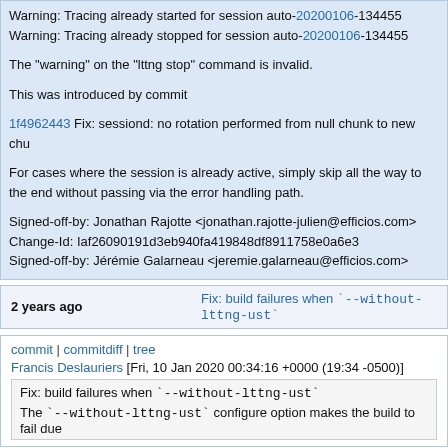Warning: Tracing already started for session auto-20200106-134455
Warning: Tracing already stopped for session auto-20200106-134455
The "warning" on the "lttng stop" command is invalid.
This was introduced by commit
1f4962443 Fix: sessiond: no rotation performed from null chunk to new chu...
For cases where the session is already active, simply skip all the way to the end without passing via the error handling path.
Signed-off-by: Jonathan Rajotte <jonathan.rajotte-julien@efficios.com>
Change-Id: Iaf26090191d3eb940fa419848df8911758e0a6e3
Signed-off-by: Jérémie Galarneau <jeremie.galarneau@efficios.com>
2 years ago   Fix: build failures when `--without-lttng-ust`
commit | commitdiff | tree
Francis Deslauriers [Fri, 10 Jan 2020 00:34:16 +0000 (19:34 -0500)]
Fix: build failures when `--without-lttng-ust`
The `--without-lttng-ust` configure option makes the build to fail due